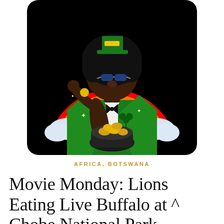[Figure (illustration): Illustration of a stylish Black woman with an afro wearing a green tuxedo suit and green leprechaun hat, sunglasses, holding a pot of gold coins and eating a gold coin, with a rainbow and white clouds in the background on a black rounded-rectangle background]
AFRICA, BOTSWANA
Movie Monday: Lions Eating Live Buffalo at ^ Chobe National Park, Botswana